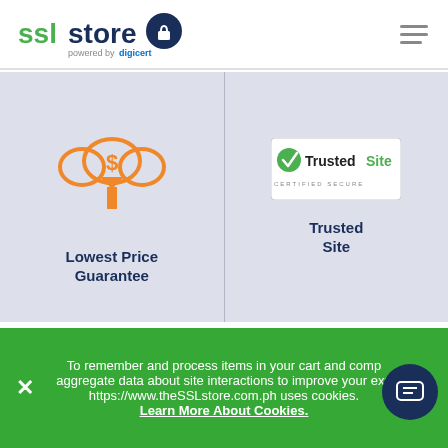[Figure (logo): The SSL Store logo powered by DigiCert]
[Figure (illustration): Hamburger menu icon (three horizontal lines)]
[Figure (illustration): Orange money cloud icon with downward arrow representing Lowest Price Guarantee]
Lowest Price Guarantee
[Figure (illustration): TrustedSite Certified Secure badge]
Trusted Site
[Figure (illustration): Two gear icons (dark navy with keyhole and light gray) representing SSL Installation Service]
SSL Installation Service
To remember and process items in your cart and compile aggregate data about site interactions to improve your experience, https://www.theSSLstore.com.ph uses cookies.
Learn More About Cookies.